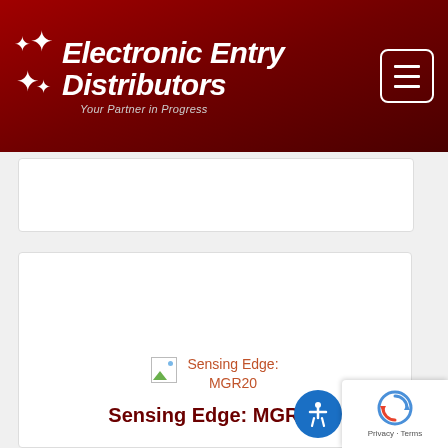Electronic Entry Distributors — Your Partner in Progress
[Figure (screenshot): Partial product card, white background, no visible content]
[Figure (screenshot): Product card showing broken image placeholder and product title 'Sensing Edge: MGR20' in orange, followed by bold dark red title text 'Sensing Edge: MGR20']
Sensing Edge: MGR20